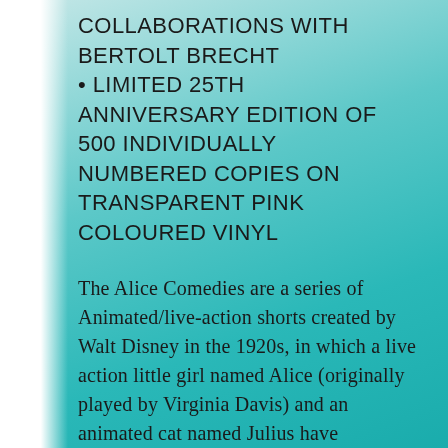COLLABORATIONS WITH BERTOLT BRECHT
LIMITED 25TH ANNIVERSARY EDITION OF 500 INDIVIDUALLY NUMBERED COPIES ON TRANSPARENT PINK COLOURED VINYL
The Alice Comedies are a series of Animated/live-action shorts created by Walt Disney in the 1920s, in which a live action little girl named Alice (originally played by Virginia Davis) and an animated cat named Julius have adventures in an animated landscape.